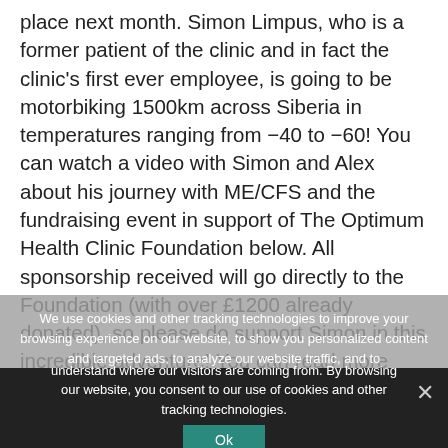place next month. Simon Limpus, who is a former patient of the clinic and in fact the clinic's first ever employee, is going to be motorbiking 1500km across Siberia in temperatures ranging from −40 to −60! You can watch a video with Simon and Alex about his journey with ME/CFS and the fundraising event in support of The Optimum Health Clinic Foundation below. All sponsorship received will go directly to the Foundation (with over £1200 already donated), so please do support Simon in this incredible adventure! You can read more about the event and sponsor Simon at www.Icerun2012.com
We use cookies and other tracking technologies to improve your browsing experience on our website, to show you personalized content and targeted ads, to analyze our website traffic, and to understand where our visitors are coming from. By browsing our website, you consent to our use of cookies and other tracking technologies.